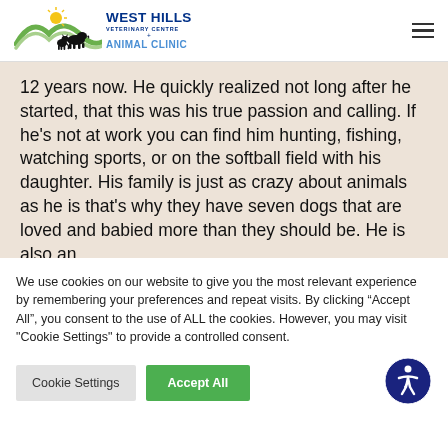West Hills Veterinary Centre + Animal Clinic
12 years now. He quickly realized not long after he started, that this was his true passion and calling. If he’s not at work you can find him hunting, fishing, watching sports, or on the softball field with his daughter. His family is just as crazy about animals as he is that’s why they have seven dogs that are loved and babied more than they should be. He is also an
We use cookies on our website to give you the most relevant experience by remembering your preferences and repeat visits. By clicking “Accept All”, you consent to the use of ALL the cookies. However, you may visit "Cookie Settings" to provide a controlled consent.